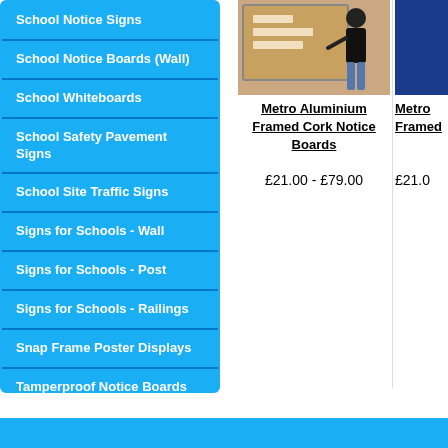School Notice Signs
School Notice Boards (Wall)
School Whiteboards
School Safety Pavement Signs
School Site Traffic Signs
Signs for Schools - Wall
Signs for Schools - Post
Signs for Schools - Railings
Snap Frame Poster Displays
Tamperproof Notice Boards
[Figure (photo): Person standing at a cork notice board]
Metro Aluminium Framed Cork Notice Boards
£21.00 - £79.00
[Figure (photo): Dark blue framed notice board (partially visible)]
Metro Framed
£21.0